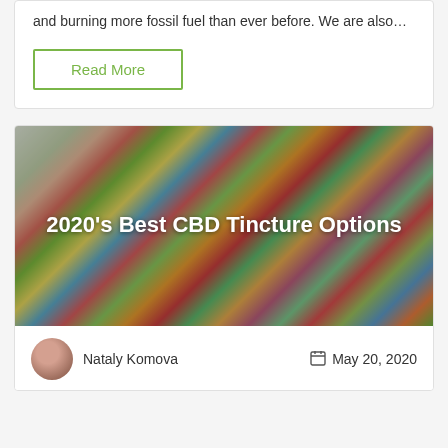and burning more fossil fuel than ever before. We are also...
Read More
[Figure (photo): Colorful assorted gummy candies spread on a white surface, with the title '2020's Best CBD Tincture Options' overlaid in white text]
2020's Best CBD Tincture Options
Nataly Komova
May 20, 2020